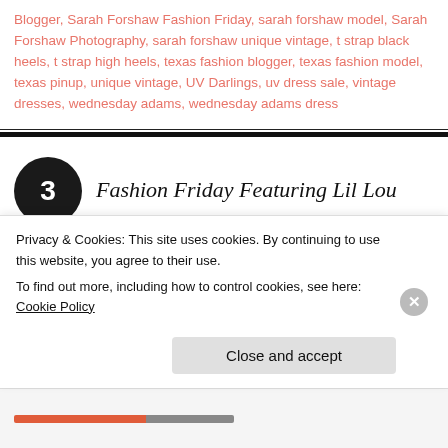Blogger, Sarah Forshaw Fashion Friday, sarah forshaw model, Sarah Forshaw Photography, sarah forshaw unique vintage, t strap black heels, t strap high heels, texas fashion blogger, texas fashion model, texas pinup, unique vintage, UV Darlings, uv dress sale, vintage dresses, wednesday adams, wednesday adams dress
Fashion Friday Featuring Lil Lou
Privacy & Cookies: This site uses cookies. By continuing to use this website, you agree to their use. To find out more, including how to control cookies, see here: Cookie Policy
Close and accept